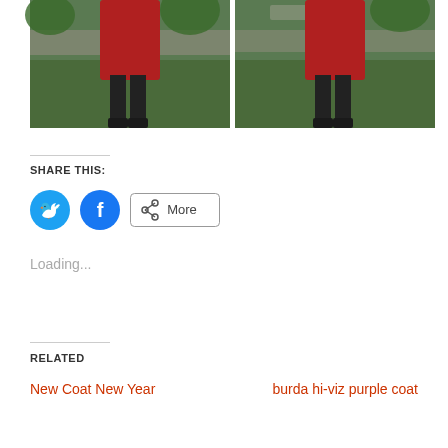[Figure (photo): Two side-by-side photos of a person wearing a red coat and black leggings, standing in a garden with green plants and stone wall in the background. Left photo shows front view, right photo shows back view.]
SHARE THIS:
[Figure (infographic): Social sharing buttons: Twitter (blue circle with bird icon), Facebook (blue circle with f icon), and a More button with share icon]
Loading...
RELATED
New Coat New Year
burda hi-viz purple coat